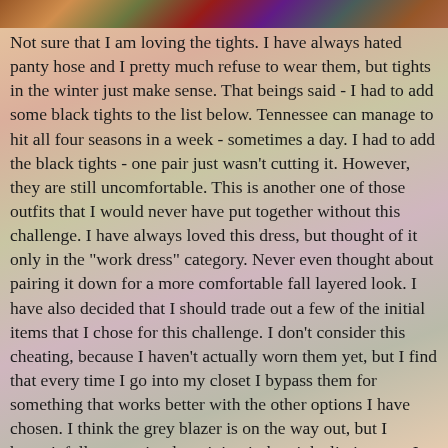[Figure (photo): Colorful clothing items on hangers visible at the top of the page]
Not sure that I am loving the tights.  I have always hated panty hose and I pretty much refuse to wear them, but tights in the winter just make sense.  That beings said - I had to add some black tights to the list below.  Tennessee can manage to hit all four seasons in a week - sometimes a day.  I had to add the black tights - one pair just wasn't cutting it.  However, they are still uncomfortable.  This is another one of those outfits that I would never have put together without this challenge.  I have always loved this dress, but thought of it only in the "work dress" category.  Never even thought about pairing it down for a more comfortable fall layered look.  I have also decided that I should trade out a few of the initial items that I chose for this challenge.  I don't consider this cheating, because I haven't actually worn them yet, but I find that every time I go into my closet I bypass them for something that works better with the other options I have chosen.  I think the grey blazer is on the way out, but I haven't fully committed to giving it the pink slip just yet.  I have decided to trade out the purple infinity scarf for a black polka dot scarf that seems to give me more options than the purple one did. I have noted the changes below in the list with *.  I will give you the verdict on the grey blazer soon. I just can't seem to pair the grey with all of my neutral brown toned shoes and make it